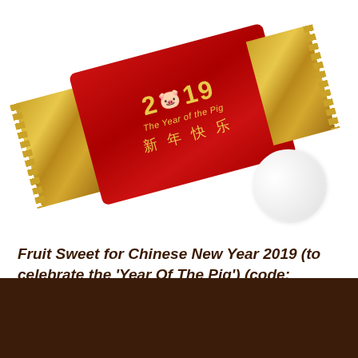[Figure (photo): A red and gold wrapped fruit sweet/candy for Chinese New Year 2019, Year of the Pig. The wrapper is red in the center with gold text reading '2019 The Year of the Pig' and Chinese characters '新年快乐'. The left and right ends are gold foil with serrated edges. A white round candy is visible to the lower right of the wrapper.]
Fruit Sweet for Chinese New Year 2019 (to celebrate the 'Year Of The Pig') (code: MENMCNY)
L